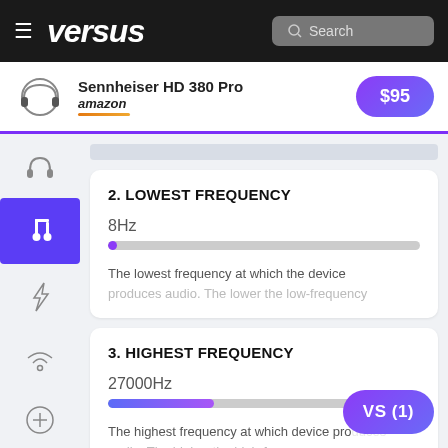versus — Search
Sennheiser HD 380 Pro — amazon — $95
2. LOWEST FREQUENCY
8Hz
The lowest frequency at which the device produces audio. The lower the low-frequency
3. HIGHEST FREQUENCY
27000Hz
The highest frequency at which device produces audio. The higher the high-frequency response
VS (1)